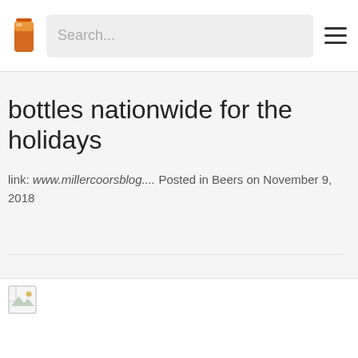Search...
bottles nationwide for the holidays
link: www.millercoorsblog.... Posted in Beers on November 9, 2018
[Figure (photo): Broken image placeholder at bottom of page content area]